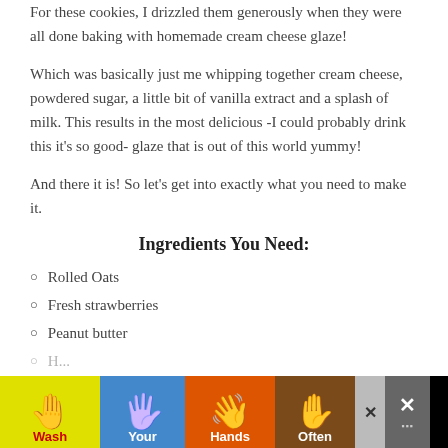For these cookies, I drizzled them generously when they were all done baking with homemade cream cheese glaze!
Which was basically just me whipping together cream cheese, powdered sugar, a little bit of vanilla extract and a splash of milk. This results in the most delicious -I could probably drink this it's so good- glaze that is out of this world yummy!
And there it is! So let's get into exactly what you need to make it.
Ingredients You Need:
Rolled Oats
Fresh strawberries
Peanut butter
[Figure (other): Advertisement banner: Wash Your Hands Often public health ad with colorful hand illustrations on yellow, blue, orange, and brown backgrounds]